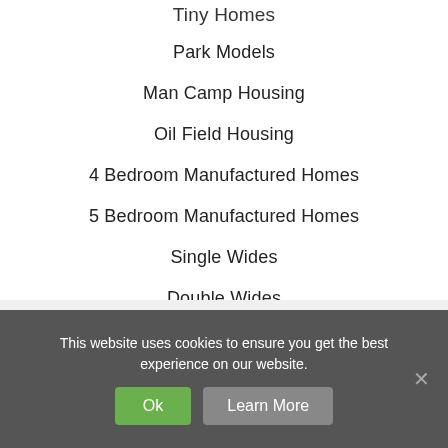Tiny Homes
Park Models
Man Camp Housing
Oil Field Housing
4 Bedroom Manufactured Homes
5 Bedroom Manufactured Homes
Single Wides
Double Wides
This website uses cookies to ensure you get the best experience on our website.
Ok
Learn More